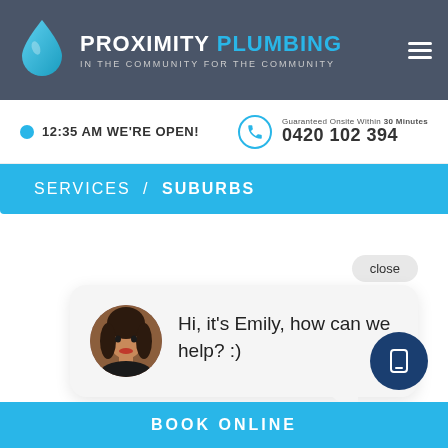[Figure (logo): Proximity Plumbing logo with blue water drop icon and company name, tagline: In The Community For The Community]
12:35 AM WE'RE OPEN!
Guaranteed Onsite Within 30 Minutes
0420 102 394
SERVICES / SUBURBS
close
[Figure (photo): Round avatar photo of Emily, a woman with dark hair and red lips]
Hi, it's Emily, how can we help? :)
[Figure (illustration): Dark blue circle button with white phone/device icon]
BOOK ONLINE